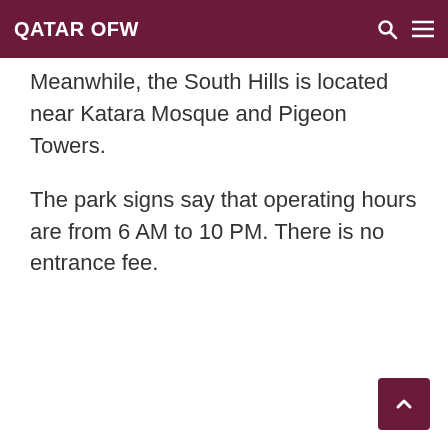QATAR OFW
Meanwhile, the South Hills is located near Katara Mosque and Pigeon Towers.
The park signs say that operating hours are from 6 AM to 10 PM. There is no entrance fee.